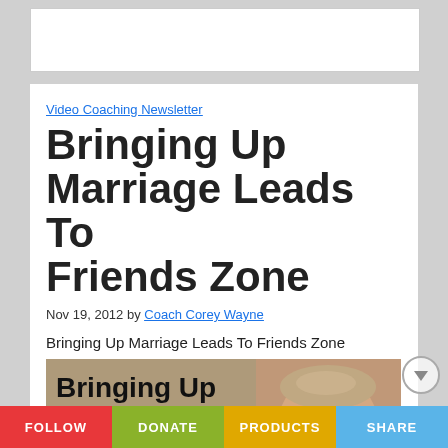[Figure (other): Advertisement banner placeholder (white rectangle)]
Video Coaching Newsletter
Bringing Up Marriage Leads To Friends Zone
Nov 19, 2012 by Coach Corey Wayne
Bringing Up Marriage Leads To Friends Zone
[Figure (screenshot): Video thumbnail showing bold text 'Bringing Up Marriage Leads To Friends Zone' with a man's face on the right and a YouTube play button in the center]
FOLLOW  DONATE  PRODUCTS  SHARE